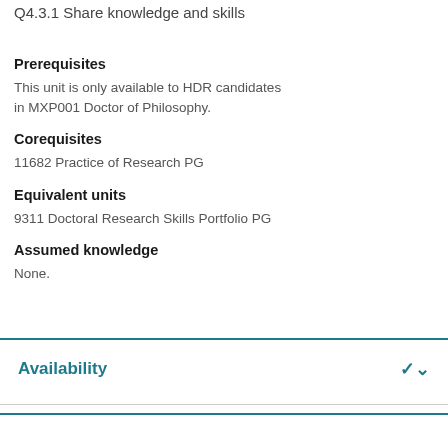Q4.3.1 Share knowledge and skills
Prerequisites
This unit is only available to HDR candidates in MXP001 Doctor of Philosophy.
Corequisites
11682 Practice of Research PG
Equivalent units
9311 Doctoral Research Skills Portfolio PG
Assumed knowledge
None.
Availability